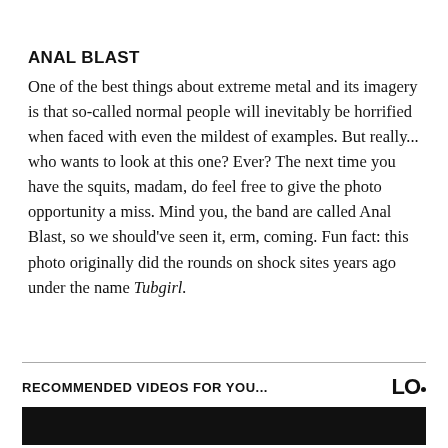ANAL BLAST
One of the best things about extreme metal and its imagery is that so-called normal people will inevitably be horrified when faced with even the mildest of examples. But really... who wants to look at this one? Ever? The next time you have the squits, madam, do feel free to give the photo opportunity a miss. Mind you, the band are called Anal Blast, so we should've seen it, erm, coming. Fun fact: this photo originally did the rounds on shock sites years ago under the name Tubgirl.
RECOMMENDED VIDEOS FOR YOU...